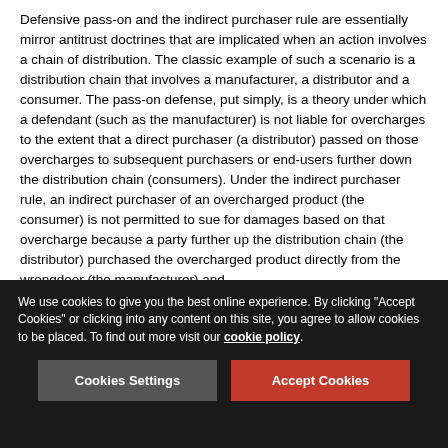Defensive pass-on and the indirect purchaser rule are essentially mirror antitrust doctrines that are implicated when an action involves a chain of distribution. The classic example of such a scenario is a distribution chain that involves a manufacturer, a distributor and a consumer. The pass-on defense, put simply, is a theory under which a defendant (such as the manufacturer) is not liable for overcharges to the extent that a direct purchaser (a distributor) passed on those overcharges to subsequent purchasers or end-users further down the distribution chain (consumers). Under the indirect purchaser rule, an indirect purchaser of an overcharged product (the consumer) is not permitted to sue for damages based on that overcharge because a party further up the distribution chain (the distributor) purchased the overcharged product directly from the wrongdoer (the manufacturer) and
We use cookies to give you the best online experience. By clicking "Accept Cookies" or clicking into any content on this site, you agree to allow cookies to be placed. To find out more visit our cookie policy.